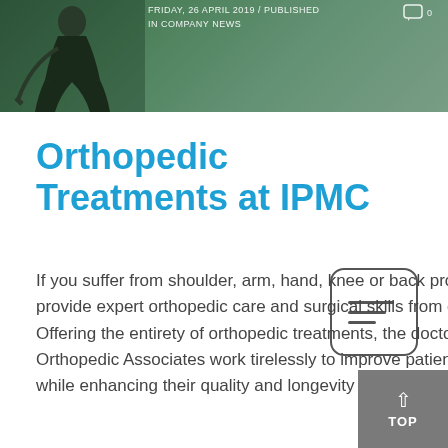[Figure (photo): Hero image showing a golfer in a dark shirt, overlaid with date and category text: FRIDAY, 26 APRIL 2019 / PUBLISHED IN COMPANY NEWS]
Orthopedic Treatments at IPMC
If you suffer from shoulder, arm, hand, knee or back problems, we can help. We provide expert orthopedic care and surgical skills from our highly trained specialists. Offering the entirety of orthopedic treatments, the doctors at Pennsylvania Orthopedic Associates work tirelessly to improve patients' function and performance while enhancing their quality and longevity of life.